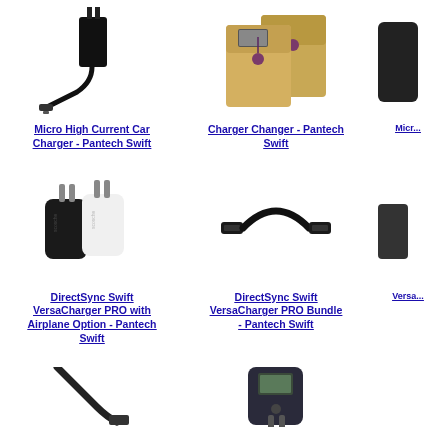[Figure (photo): Micro USB wall charger/travel charger - Pantech Swift]
Micro High Current Car Charger - Pantech Swift
[Figure (photo): Two tan/manila envelope-style phone pouches with button closures]
Charger Changer - Pantech Swift
[Figure (photo): Partially visible product on right edge]
Micr...
[Figure (photo): Two car chargers - one black one white with silver prongs]
DirectSync Swift VersaCharger PRO with Airplane Option - Pantech Swift
[Figure (photo): Black micro USB OTG adapter cable]
DirectSync Swift VersaCharger PRO Bundle - Pantech Swift
[Figure (photo): Partially visible product on right edge]
Versa...
[Figure (photo): Small car charger cable partially visible at bottom]
[Figure (photo): Car charger with digital display partially visible at bottom]